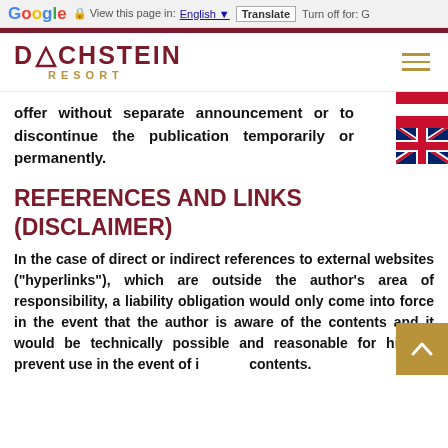Google  View this page in: English  Translate  Turn off for: G
[Figure (logo): Dachstein Resort logo with mountain symbol and hamburger menu icon]
offer without separate announcement or to discontinue the publication temporarily or permanently.
REFERENCES AND LINKS (DISCLAIMER)
In the case of direct or indirect references to external websites ("hyperlinks"), which are outside the author's area of responsibility, a liability obligation would only come into force in the event that the author is aware of the contents and it would be technically possible and reasonable for him to prevent use in the event of illegal contents.